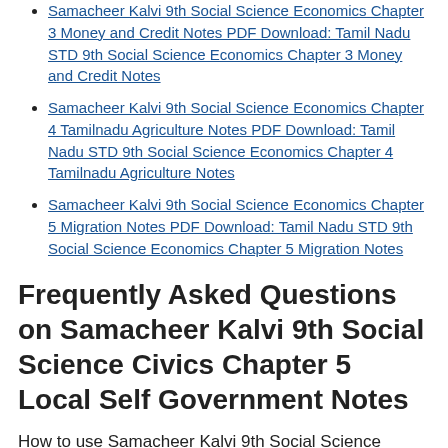Samacheer Kalvi 9th Social Science Economics Chapter 3 Money and Credit Notes PDF Download: Tamil Nadu STD 9th Social Science Economics Chapter 3 Money and Credit Notes
Samacheer Kalvi 9th Social Science Economics Chapter 4 Tamilnadu Agriculture Notes PDF Download: Tamil Nadu STD 9th Social Science Economics Chapter 4 Tamilnadu Agriculture Notes
Samacheer Kalvi 9th Social Science Economics Chapter 5 Migration Notes PDF Download: Tamil Nadu STD 9th Social Science Economics Chapter 5 Migration Notes
Frequently Asked Questions on Samacheer Kalvi 9th Social Science Civics Chapter 5 Local Self Government Notes
How to use Samacheer Kalvi 9th Social Science Civics Chapter 5 Local Self Government Notes for preparation??